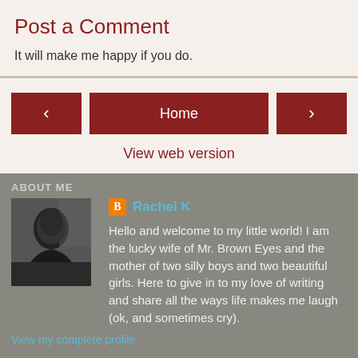Post a Comment
It will make me happy if you do.
[Figure (other): Navigation buttons: left arrow, Home, right arrow, and View web version link]
ABOUT ME
[Figure (photo): Black and white profile photo of Rachel K, a woman looking to the side in a car]
Rachel K
Hello and welcome to my little world! I am the lucky wife of Mr. Brown Eyes and the mother of two silly boys and two beautiful girls. Here to give in to my love of writing and share all the ways life makes me laugh (ok, and sometimes cry).
View my complete profile
Powered by Blogger.